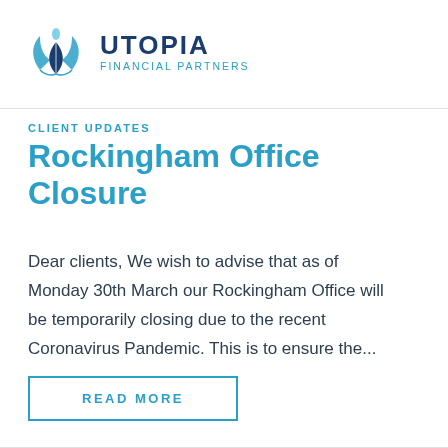[Figure (logo): Utopia Financial Partners logo with stylized tulip/leaf icon in blue tones and bold text 'UTOPIA' with subtitle 'FINANCIAL PARTNERS']
CLIENT UPDATES
Rockingham Office Closure
Dear clients, We wish to advise that as of Monday 30th March our Rockingham Office will be temporarily closing due to the recent Coronavirus Pandemic. This is to ensure the...
READ MORE